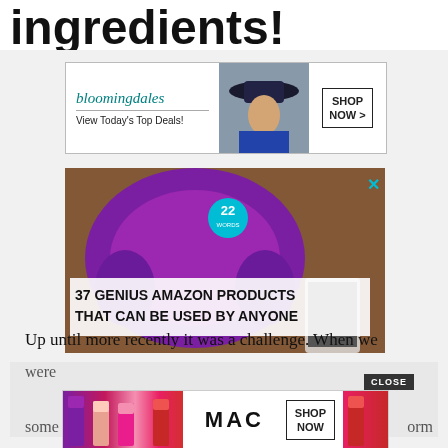ingredients!
[Figure (screenshot): Bloomingdales advertisement banner: logo with 'bloomingdales', tagline 'View Today's Top Deals!', fashion photo of woman in hat, 'SHOP NOW >' button]
[Figure (screenshot): Amazon products advertisement: purple headphones photo background, teal circular badge with '22', bold text '37 GENIUS AMAZON PRODUCTS THAT CAN BE USED BY ANYONE', close X button]
Up until more recently it was a challenge. When we
were
[Figure (screenshot): MAC Cosmetics advertisement: colorful lipsticks photo, MAC logo, 'SHOP NOW' button, CLOSE button]
some
orm